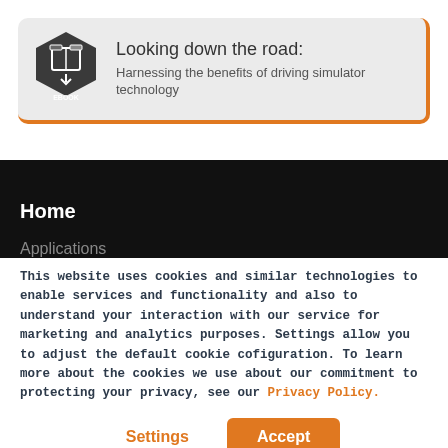[Figure (illustration): Ebook banner with hexagon icon showing book/document symbol labeled EBOOK, with title 'Looking down the road: Harnessing the benefits of driving simulator technology' on light grey rounded rectangle with orange border accent]
Looking down the road:
Harnessing the benefits of driving simulator technology
Home
Applications
This website uses cookies and similar technologies to enable services and functionality and also to understand your interaction with our service for marketing and analytics purposes. Settings allow you to adjust the default cookie cofiguration. To learn more about the cookies we use about our commitment to protecting your privacy, see our Privacy Policy.
Settings
Accept